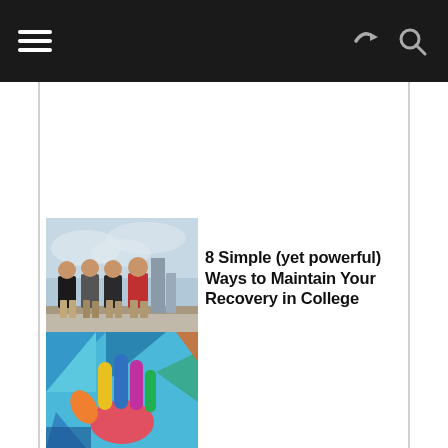Navigation header with hamburger menu, share icon, and search icon
[Figure (photo): Group of four young men standing on a rooftop, wearing casual t-shirts]
8 Simple (yet powerful) Ways to Maintain Your Recovery in College
[Figure (illustration): Colorful geometric illustration of an open hand with vibrant abstract shapes]